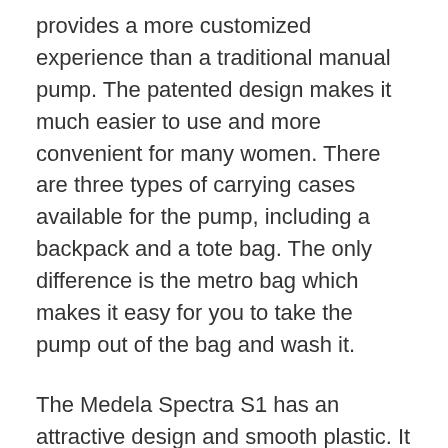provides a more customized experience than a traditional manual pump. The patented design makes it much easier to use and more convenient for many women. There are three types of carrying cases available for the pump, including a backpack and a tote bag. The only difference is the metro bag which makes it easy for you to take the pump out of the bag and wash it.
The Medela Spectra S1 has an attractive design and smooth plastic. It is easy to use thanks to its carry handle. The pump comes with a protective carrying case for storing spare parts, which many women appreciate. It also features a built-in night-light and a digital readout. The Spectra S1 is also quieter than the Medela Pump Style Advanced.